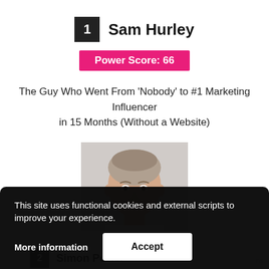1  Sam Hurley
Power Score: 66
The Guy Who Went From 'Nobody' to #1 Marketing Influencer in 15 Months (Without a Website)
[Figure (photo): Headshot photo of Sam Hurley, a bald/shaved-head man, light-skinned, smiling slightly, against a light background]
This site uses functional cookies and external scripts to improve your experience.
More information
Accept
2  Simon Porter